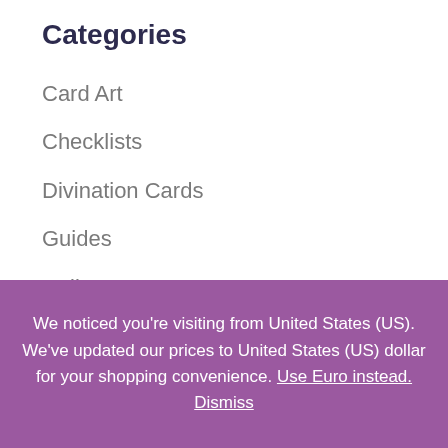Categories
Card Art
Checklists
Divination Cards
Guides
Haiku
Handmade Jewelry
Henk Luijten
We noticed you're visiting from United States (US). We've updated our prices to United States (US) dollar for your shopping convenience. Use Euro instead. Dismiss